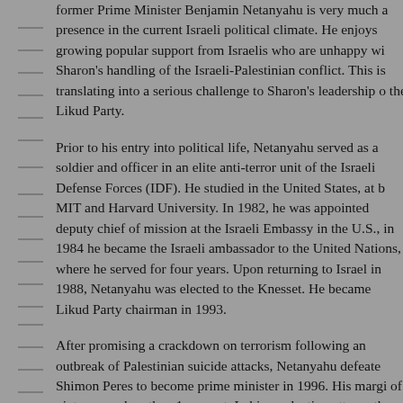former Prime Minister Benjamin Netanyahu is very much a presence in the current Israeli political climate. He enjoys growing popular support from Israelis who are unhappy with Sharon's handling of the Israeli-Palestinian conflict. This is translating into a serious challenge to Sharon's leadership of the Likud Party.
Prior to his entry into political life, Netanyahu served as a soldier and officer in an elite anti-terror unit of the Israeli Defense Forces (IDF). He studied in the United States, at both MIT and Harvard University. In 1982, he was appointed deputy chief of mission at the Israeli Embassy in the U.S., and in 1984 he became the Israeli ambassador to the United Nations, where he served for four years. Upon returning to Israel in 1988, Netanyahu was elected to the Knesset. He became Likud Party chairman in 1993.
After promising a crackdown on terrorism following an outbreak of Palestinian suicide attacks, Netanyahu defeated Shimon Peres to become prime minister in 1996. His margin of victory was less than 1 percent. In his re-election attempt three years later, Netanyahu was defeated in a landslide by Labor Party leader Ehud Barak, who favored restarting the peace process.
Since the outbreak of the second Palestinian intifada in